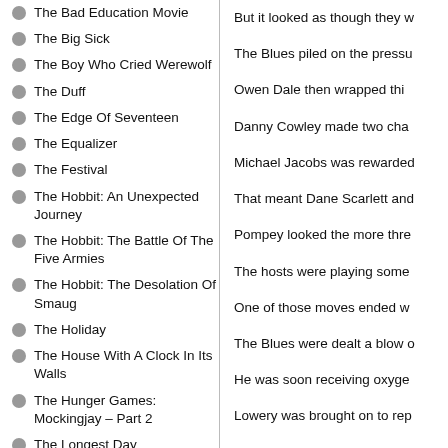The Bad Education Movie
The Big Sick
The Boy Who Cried Werewolf
The Duff
The Edge Of Seventeen
The Equalizer
The Festival
The Hobbit: An Unexpected Journey
The Hobbit: The Battle Of The Five Armies
The Hobbit: The Desolation Of Smaug
The Holiday
The House With A Clock In Its Walls
The Hunger Games: Mockingjay – Part 2
The Longest Day
The Look Of Love
The Martian
The Moth Diaries
The Nutcracker And The Four Realms
The Pretty One
But it looked as though they w
The Blues piled on the pressu
Owen Dale then wrapped thi
Danny Cowley made two cha
Michael Jacobs was rewarded
That meant Dane Scarlett and
Pompey looked the more thre
The hosts were playing some
One of those moves ended w
The Blues were dealt a blow o
He was soon receiving oxyge
Lowery was brought on to rep